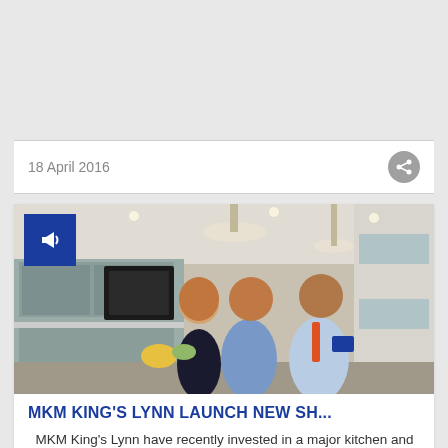18 April 2016
[Figure (photo): Three people standing in a kitchen showroom with pendant lights and fitted cabinets. A small blue megaphone icon overlays the top-left corner.]
MKM KING'S LYNN LAUNCH NEW SH...
MKM King's Lynn have recently invested in a major kitchen and bathroom showroom revamp, ...